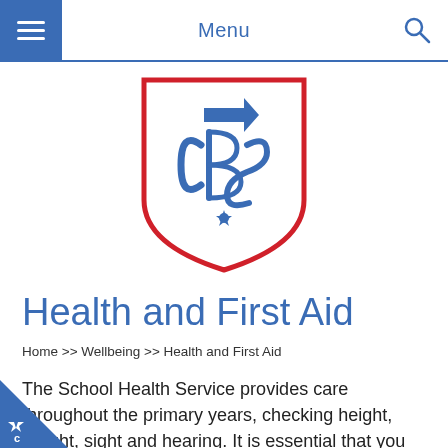Menu
[Figure (logo): School crest/shield logo with red outer shield border and blue CBS monogram letters with decorative elements inside]
Health and First Aid
Home >> Wellbeing >> Health and First Aid
The School Health Service provides care throughout the primary years, checking height, weight, sight and hearing. It is essential that you